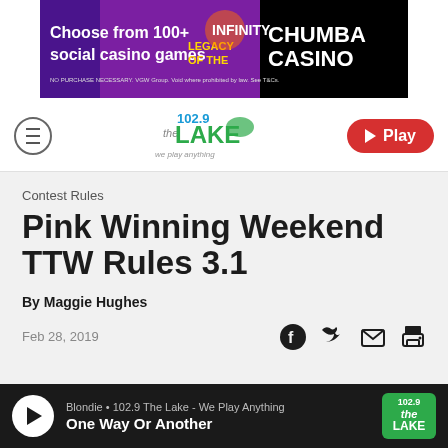[Figure (screenshot): Chumba Casino advertisement banner: 'Choose from 100+ social casino games' with colorful casino imagery and logo]
[Figure (logo): 102.9 The Lake - We Play Anything radio station logo]
[Figure (other): Red Play button in navigation bar]
Contest Rules
Pink Winning Weekend TTW Rules 3.1
By Maggie Hughes
Feb 28, 2019
[Figure (other): Social sharing icons: Facebook, Twitter, email, print]
[Figure (other): Audio player bar: Blondie - One Way Or Another on 102.9 The Lake - We Play Anything]